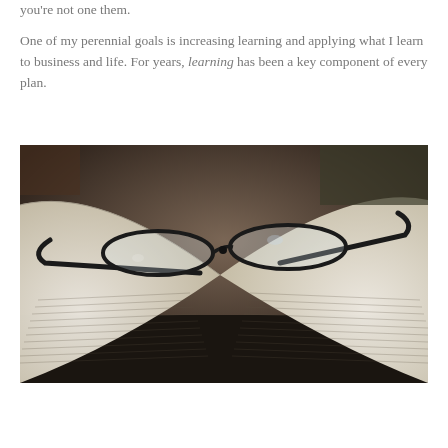you're not one them.

One of my perennial goals is increasing learning and applying what I learn to business and life. For years, learning has been a key component of every plan.
[Figure (photo): An open book with black-rimmed reading glasses resting on its pages, photographed close-up with a blurred background.]
Continue reading →